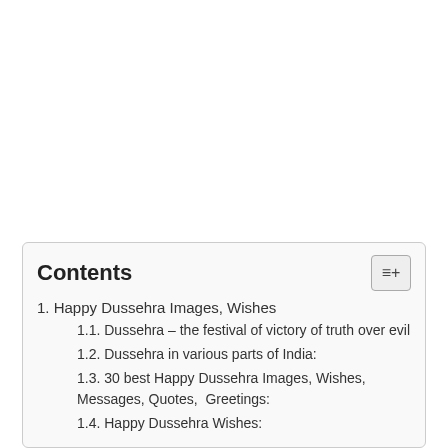Contents
1. Happy Dussehra Images, Wishes
1.1. Dussehra – the festival of victory of truth over evil
1.2. Dussehra in various parts of India:
1.3. 30 best Happy Dussehra Images, Wishes, Messages, Quotes,  Greetings:
1.4. Happy Dussehra Wishes: